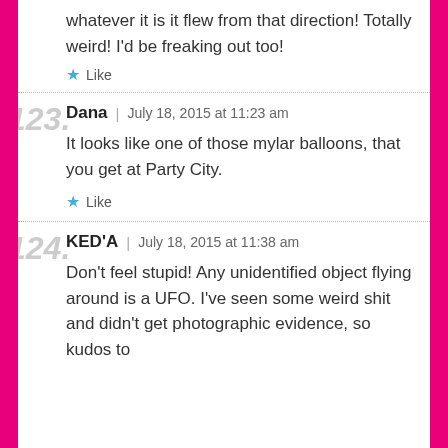whatever it is it flew from that direction! Totally weird! I'd be freaking out too!
Like
123. Dana | July 18, 2015 at 11:23 am
It looks like one of those mylar balloons, that you get at Party City.
Like
124. KED'A | July 18, 2015 at 11:38 am
Don't feel stupid! Any unidentified object flying around is a UFO. I've seen some weird shit and didn't get photographic evidence, so kudos to